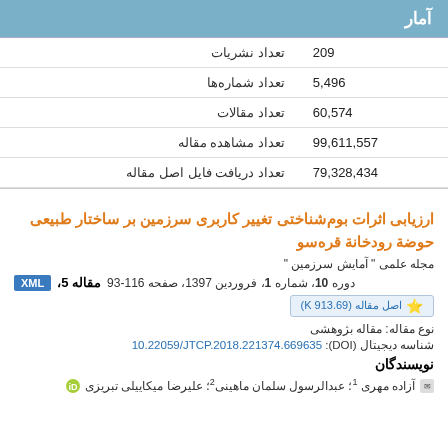آمار
| تعداد نشریات | 209 |
| --- | --- |
| تعداد شماره‌ها | 5,496 |
| تعداد مقالات | 60,574 |
| تعداد مشاهده مقاله | 99,611,557 |
| تعداد دریافت فایل اصل مقاله | 79,328,434 |
ارزیابی اثرات بوم‌شناختی تغییر کاربری سرزمین بر ساختار طبیعی حوضة رودخانة قره‌سو
مجله علمی " آمایش سرزمین "
مقاله 5، دوره 10، شماره 1، فروردین 1397، صفحه 116-93
اصل مقاله (K 913.69)
نوع مقاله: مقاله بژوهشی
شناسه دیجیتال (DOI): 10.22059/JTCP.2018.221374.669635
نویسندگان
آزاده مهری 1؛ عبدالرسول سلمان ماهینی2؛ علیرضا میکاییلی تبریزی